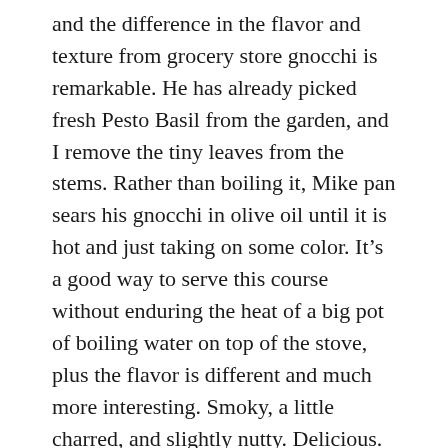and the difference in the flavor and texture from grocery store gnocchi is remarkable. He has already picked fresh Pesto Basil from the garden, and I remove the tiny leaves from the stems. Rather than boiling it, Mike pan sears his gnocchi in olive oil until it is hot and just taking on some color. It's a good way to serve this course without enduring the heat of a big pot of boiling water on top of the stove, plus the flavor is different and much more interesting. Smoky, a little charred, and slightly nutty. Delicious. A handful of the hot gnocchi goes down on the plate. A drizzle of the garlicky oil goes over it. Some of the toasted pignolis, a scattering of freshly shaved Parmigiano-Reggiano cheese, and a generous handful of the Pesto Basil leaves. A sprinkle of coarse salt and a grinding of black